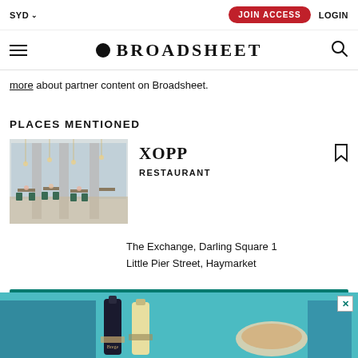SYD  JOIN ACCESS  LOGIN
BROADSHEET
more about partner content on Broadsheet.
PLACES MENTIONED
[Figure (photo): Interior of XOPP restaurant at The Exchange, Darling Square — tall columns, floor-to-ceiling windows, green chairs, tables with floral arrangements.]
XOPP
RESTAURANT
The Exchange, Darling Square 1 Little Pier Street, Haymarket
[Figure (photo): Advertisement banner showing wine/beverage bottles on a teal background.]